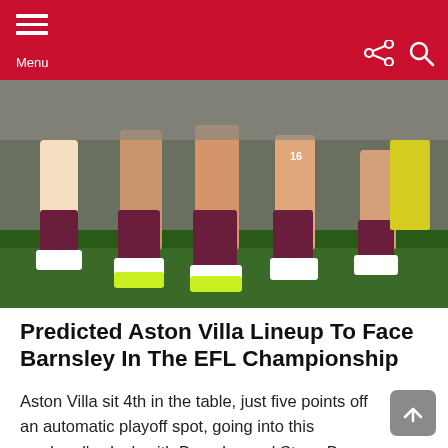Menu
[Figure (photo): Aston Villa football players' legs and feet on a pitch, wearing claret and blue kit]
Predicted Aston Villa Lineup To Face Barnsley In The EFL Championship
Aston Villa sit 4th in the table, just five points off an automatic playoff spot, going into this weekend's clash with Barnsley and Steve Bruce should pretty much have a full squad to choose from.